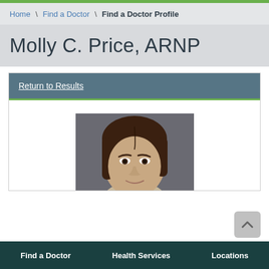Home \ Find a Doctor \ Find a Doctor Profile
Molly C. Price, ARNP
Return to Results
[Figure (photo): Headshot photo of Molly C. Price, ARNP — a woman with straight brown hair, photographed against a dark grey background]
Find a Doctor   Health Services   Locations